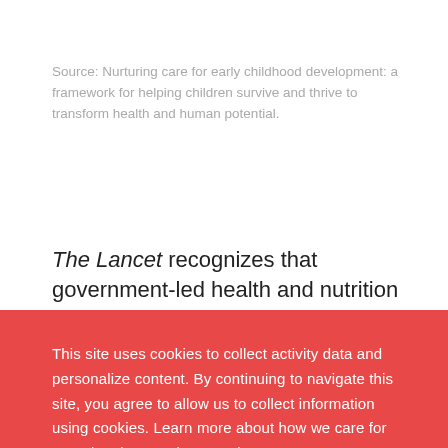Source: Nurturing care for early childhood development: a framework for helping children survive and thrive to transform health and human potential.
The Lancet recognizes that government-led health and nutrition platforms are relatively strong and, as
This site uses cookies to collect activity data and personalize content. By continuing to navigate this site, you agree to allow us to collect information using cookies. Learn more about how we care for your data in our privacy notice.